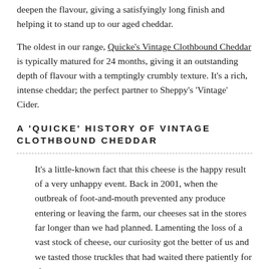deepen the flavour, giving a satisfyingly long finish and helping it to stand up to our aged cheddar.
The oldest in our range, Quicke's Vintage Clothbound Cheddar is typically matured for 24 months, giving it an outstanding depth of flavour with a temptingly crumbly texture. It's a rich, intense cheddar; the perfect partner to Sheppy's 'Vintage' Cider.
A 'QUICKE' HISTORY OF VINTAGE CLOTHBOUND CHEDDAR
It's a little-known fact that this cheese is the happy result of a very unhappy event. Back in 2001, when the outbreak of foot-and-mouth prevented any produce entering or leaving the farm, our cheeses sat in the stores far longer than we had planned. Lamenting the loss of a vast stock of cheese, our curiosity got the better of us and we tasted those truckles that had waited there patiently for almost